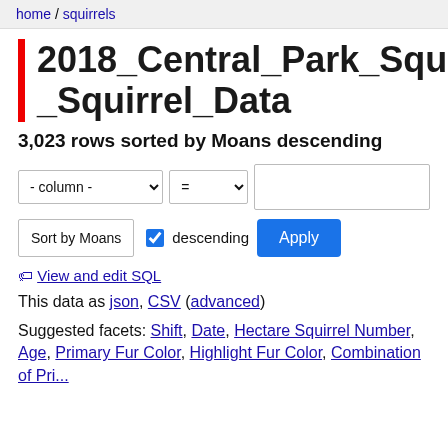home / squirrels
2018_Central_Park_Squirre_Squirrel_Data
3,023 rows sorted by Moans descending
[Figure (screenshot): Filter controls: column dropdown set to '- column -', operator dropdown set to '=', and a text input field]
[Figure (screenshot): Sort controls: 'Sort by Moans' button, 'descending' checkbox (checked), and 'Apply' button]
🏷 View and edit SQL
This data as json, CSV (advanced)
Suggested facets: Shift, Date, Hectare Squirrel Number, Age, Primary Fur Color, Highlight Fur Color, Combination of Primary and Highlight Color, Running, ...